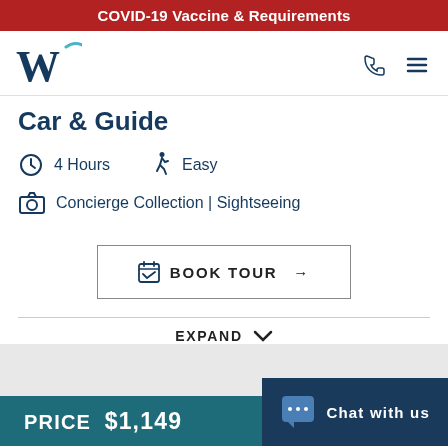COVID-19 Vaccine & Requirements
[Figure (logo): W logo - stylized letter W with swoosh, dark navy color]
Car & Guide
4 Hours
Easy
Concierge Collection | Sightseeing
BOOK TOUR →
EXPAND
PRICE $1,149
Chat with us